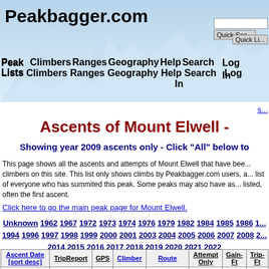Peakbagger.com
Peak Lists  Climbers  Ranges  Geography  Help  Search  Log In
Ascents of Mount Elwell -
Showing year 2009 ascents only - Click "All" below to
This page shows all the ascents and attempts of Mount Elwell that have been logged by climbers on this site. This list only shows climbs by Peakbagger.com users, and is not a list of everyone who has summited this peak. Some peaks may also have ascents listed, often the first ascent.
Click here to go the main peak page for Mount Elwell.
Unknown 1962 1967 1972 1973 1974 1976 1979 1982 1984 1985 1986 1994 1996 1997 1998 1999 2000 2001 2003 2004 2005 2006 2007 2008 2014 2015 2016 2017 2018 2019 2020 2021 2022
| Ascent Date [sort desc] | TripReport | GPS | Climber | Route | Attempt Only | Gain-Ft | Trip-Ft |
| --- | --- | --- | --- | --- | --- | --- | --- |
| 2009-10-10 |  |  | Boester, Brad | Long Lake/Elwell Trails |  | 2008 | 2008 |